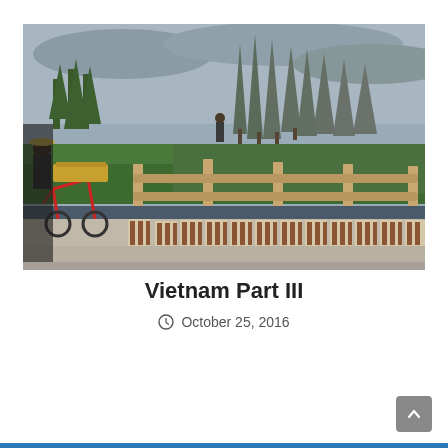[Figure (photo): A road scene in Vietnam showing a person on a bicycle/rickshaw carrying goods, a wooden fence/railing, striped concrete road barriers, green grass, and tall narrow trees in the background under an overcast sky.]
Vietnam Part III
October 25, 2016